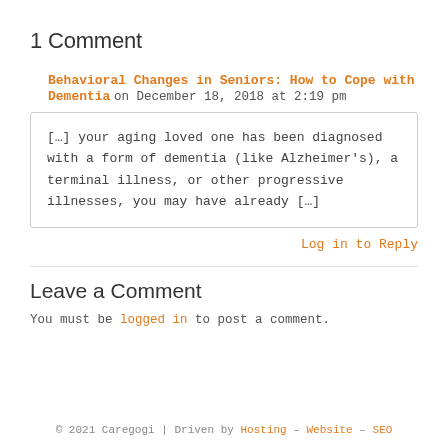1 Comment
Behavioral Changes in Seniors: How to Cope with Dementia on December 18, 2018 at 2:19 pm
[…] your aging loved one has been diagnosed with a form of dementia (like Alzheimer's), a terminal illness, or other progressive illnesses, you may have already […]
Log in to Reply
Leave a Comment
You must be logged in to post a comment.
© 2021 Caregogi | Driven by Hosting – Website – SEO